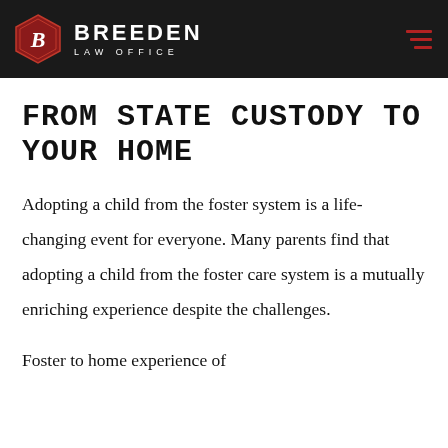BREEDEN LAW OFFICE
FROM STATE CUSTODY TO YOUR HOME
Adopting a child from the foster system is a life-changing event for everyone. Many parents find that adopting a child from the foster care system is a mutually enriching experience despite the challenges.
Foster to home experience of...